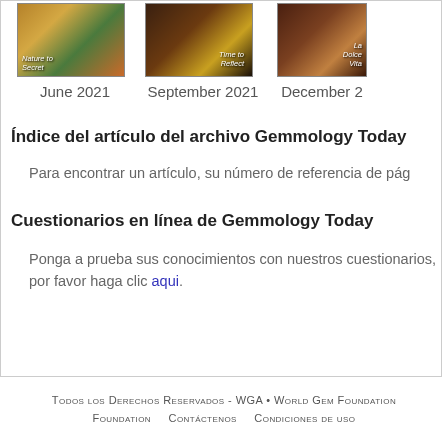[Figure (photo): Three magazine covers for Gemmology Today: June 2021, September 2021, December 2021]
June 2021    September 2021    December 2
Índice del artículo del archivo Gemmology Today
Para encontrar un artículo, su número de referencia de pág
Cuestionarios en línea de Gemmology Today
Ponga a prueba sus conocimientos con nuestros cuestionarios, por favor haga clic aqui.
Todos los Derechos Reservados - WGA • World Gem Foundation    Contáctenos    Condiciones de uso